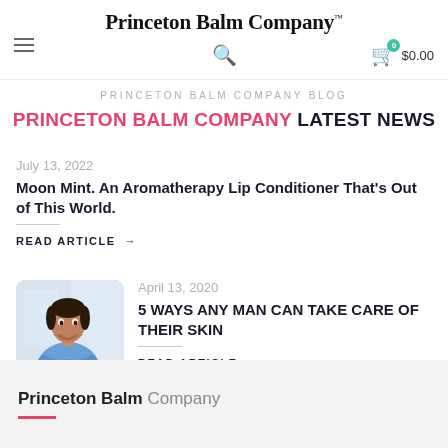Princeton Balm Company™
PRINCETON BALM COMPANY BLOG
PRINCETON BALM COMPANY LATEST NEWS
July 13, 2022
Moon Mint. An Aromatherapy Lip Conditioner That's Out of This World.
READ ARTICLE →
[Figure (photo): Photo of a smiling man in a blue shirt with arms crossed]
April 13, 2020
5 WAYS ANY MAN CAN TAKE CARE OF THEIR SKIN
READ ARTICLE →
Princeton Balm Company